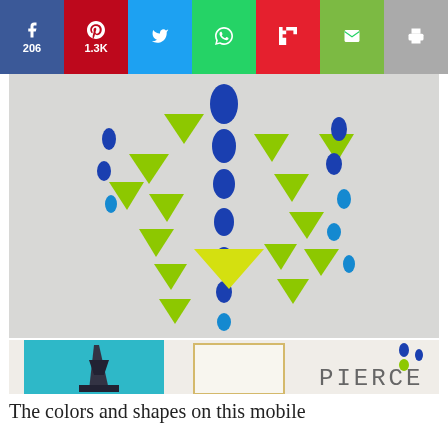[Figure (other): Social share bar with Facebook (206), Pinterest (1.3K), Twitter, WhatsApp, Flipboard, Email, and Print buttons]
[Figure (photo): Close-up photo of a colorful DIY baby mobile with green triangle shapes and blue oval/circle shapes hanging on strings against a white background]
[Figure (photo): Room photo showing a child's bedroom with a teal Eiffel Tower poster, a framed bird illustration, the name PIERCE on the wall, a hanging mobile, a stuffed animal on a gray headboard, and a white cylindrical object]
The colors and shapes on this mobile